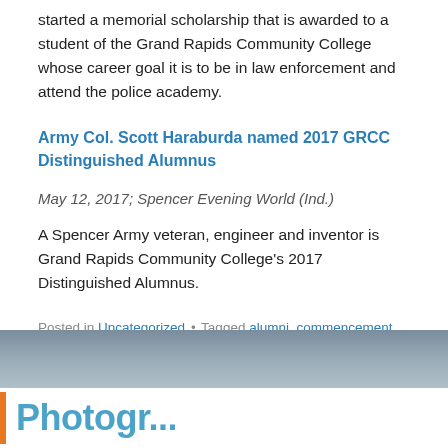started a memorial scholarship that is awarded to a student of the Grand Rapids Community College whose career goal it is to be in law enforcement and attend the police academy.
Army Col. Scott Haraburda named 2017 GRCC Distinguished Alumnus
May 12, 2017; Spencer Evening World (Ind.)
A Spencer Army veteran, engineer and inventor is Grand Rapids Community College's 2017 Distinguished Alumnus.
Posted in Uncategorized • Tagged alumni, commencement, Community, graduation, GRCC In the News, Police Academy, scholarship • Leave a comment
[Figure (photo): Partial photo strip showing a grey-toned image, appears to be a person or scene related to the article]
Photogr...